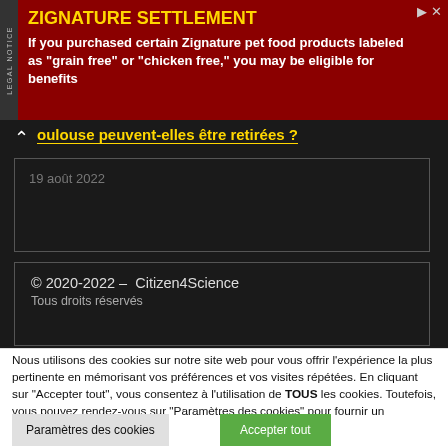[Figure (screenshot): Advertisement banner for Zignature Settlement with dark red background, yellow bold title 'ZIGNATURE SETTLEMENT' and white bold text describing pet food class action settlement eligibility]
oulouse peuvent-elles être retirées ?
19 août 2022
© 2020-2022 – Citizen4Science
Tous droits réservés
Nous utilisons des cookies sur notre site web pour vous offrir l'expérience la plus pertinente en mémorisant vos préférences et vos visites répétées. En cliquant sur "Accepter tout", vous consentez à l'utilisation de TOUS les cookies. Toutefois, vous pouvez rendez-vous sur "Paramètres des cookies" pour fournir un consentement contrôlé.
Paramètres des cookies
Accepter tout